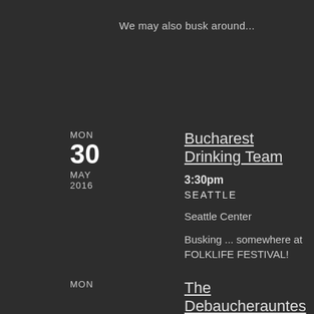We may also busk around...
Bucharest Drinking Team
MON
30
MAY
2016
3:30pm
SEATTLE
Seattle Center
Busking ... somewhere at FOLKLIFE FESTIVAL!
The Debaucherauntes
MON